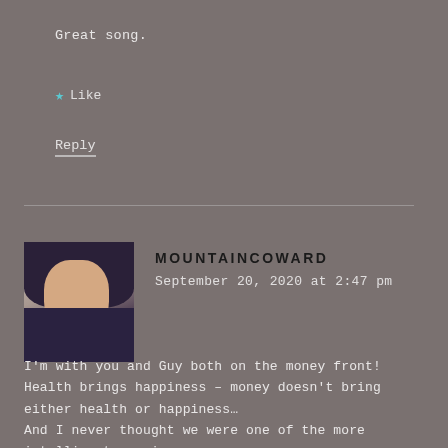Great song.
★ Like
Reply
MOUNTAINCOWARD
September 20, 2020 at 2:47 pm
[Figure (photo): Profile photo of a woman with dark hair wearing a dark top]
I'm with you and Guy both on the money front! Health brings happiness – money doesn't bring either health or happiness…
And I never thought we were one of the more intelligent species.